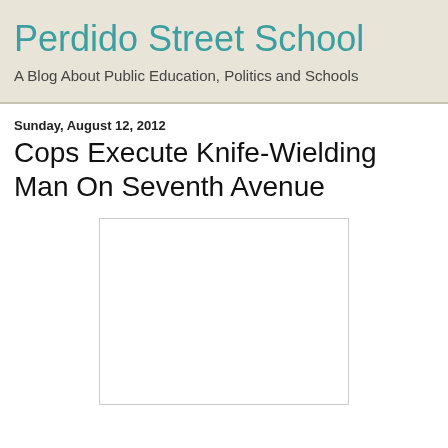Perdido Street School
A Blog About Public Education, Politics and Schools
Sunday, August 12, 2012
Cops Execute Knife-Wielding Man On Seventh Avenue
[Figure (other): Blank white image placeholder with light gray border]